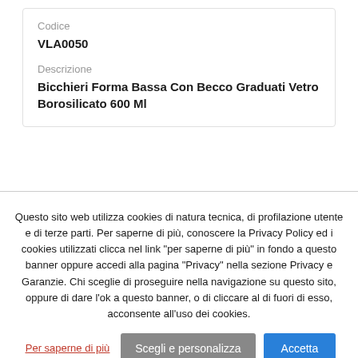Codice
VLA0050
Descrizione
Bicchieri Forma Bassa Con Becco Graduati Vetro Borosilicato 600 Ml
Questo sito web utilizza cookies di natura tecnica, di profilazione utente e di terze parti. Per saperne di più, conoscere la Privacy Policy ed i cookies utilizzati clicca nel link "per saperne di più" in fondo a questo banner oppure accedi alla pagina "Privacy" nella sezione Privacy e Garanzie. Chi sceglie di proseguire nella navigazione su questo sito, oppure di dare l'ok a questo banner, o di cliccare al di fuori di esso, acconsente all'uso dei cookies.
Per saperne di più | Scegli e personalizza | Accetta